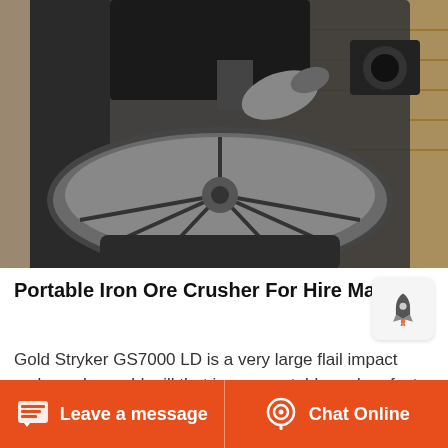[Figure (photo): Portable iron ore crusher / gold mill machine (Gold Stryker GS7000 LD) photographed from above showing circular crushing drum with metal dividers, drive shaft, and motor assembly.]
Portable Iron Ore Crusher For Hire Malay
Gold Stryker GS7000 LD is a very large flail impact rock crusher gold mill that is very portable and perfect for the small gold mining operation The Gold Stryker GS7000LD uses a large 25 HP Honda Industrial engine for many years of trouble free use It can process and
Leave a message   Chat Online